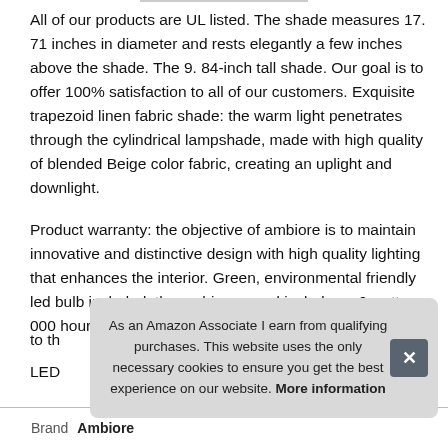All of our products are UL listed. The shade measures 17. 71 inches in diameter and rests elegantly a few inches above the shade. The 9. 84-inch tall shade. Our goal is to offer 100% satisfaction to all of our customers. Exquisite trapezoid linen fabric shade: the warm light penetrates through the cylindrical lampshade, made with high quality of blended Beige color fabric, creating an uplight and downlight.
Product warranty: the objective of ambiore is to maintain innovative and distinctive design with high quality lighting that enhances the interior. Green, environmental friendly led bulb included: the ambiore maud includes a 6 watt, 000 hours redu... to th... LED...
As an Amazon Associate I earn from qualifying purchases. This website uses the only necessary cookies to ensure you get the best experience on our website. More information
| Brand |
| --- |
| Ambiore |